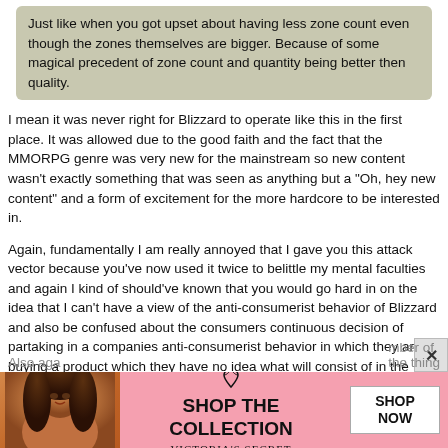Just like when you got upset about having less zone count even though the zones themselves are bigger. Because of some magical precedent of zone count and quantity being better then quality.
I mean it was never right for Blizzard to operate like this in the first place. It was allowed due to the good faith and the fact that the MMORPG genre was very new for the mainstream so new content wasn't exactly something that was seen as anything but a "Oh, hey new content" and a form of excitement for the more hardcore to be interested in.
Again, fundamentally I am really annoyed that I gave you this attack vector because you've now used it twice to belittle my mental faculties and again I kind of should've known that you would go hard in on the idea that I can't have a view of the anti-consumerist behavior of Blizzard and also be confused about the consumers continuous decision of partaking in a companies anti-consumerist behavior in which they are buying a product which they have no idea what will consist of in the current state of the product.
(I mean, it was fine for 18 years as you say. So yeah, I don't disagree on that point of view. But, the problem is the perspective of it and again you can use the WoD argument as well. But again, I think the way the lack of 3 Major Content Patches for Shadowlands happened was sleazy as the community manifested the "Cut & Run" scenario and Blizzard neglected the players until they got the mandate to make it acceptable passage of the Shadowlands expansion.)
[Figure (photo): Victoria's Secret advertisement banner with woman model, pink background, 'Shop The Collection' text and 'Shop Now' button]
Also aga... mber of zones b... the thing